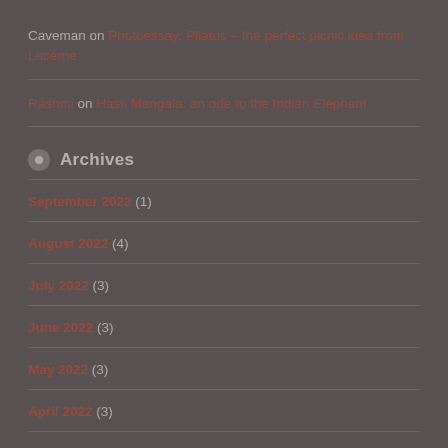Caveman on Photoessay: Pilatus – the perfect picnic idea from Lucerne
Rashmi on Hasti Mangala: an ode to the Indian Elephant
Archives
September 2022 (1)
August 2022 (4)
July 2022 (3)
June 2022 (3)
May 2022 (3)
April 2022 (3)